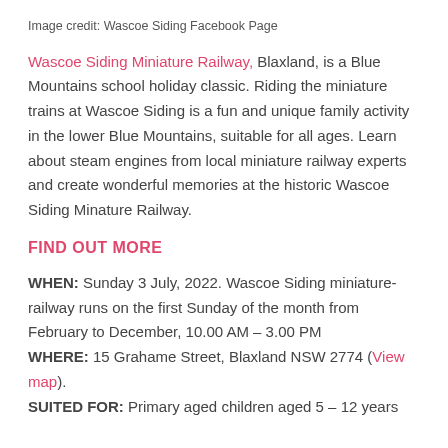Image credit: Wascoe Siding Facebook Page
Wascoe Siding Miniature Railway, Blaxland, is a Blue Mountains school holiday classic. Riding the miniature trains at Wascoe Siding is a fun and unique family activity in the lower Blue Mountains, suitable for all ages. Learn about steam engines from local miniature railway experts and create wonderful memories at the historic Wascoe Siding Minature Railway.
FIND OUT MORE
WHEN: Sunday 3 July, 2022. Wascoe Siding miniature-railway runs on the first Sunday of the month from February to December, 10.00 AM – 3.00 PM
WHERE: 15 Grahame Street, Blaxland NSW 2774 (View map).
SUITED FOR: Primary aged children aged 5 – 12 years